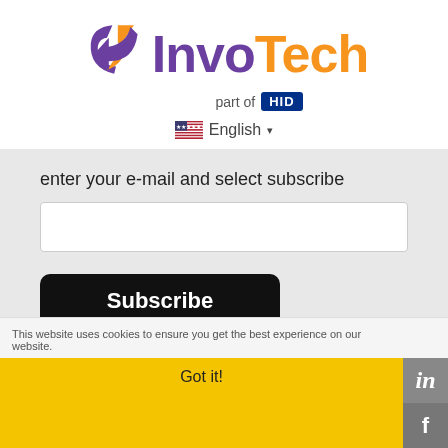[Figure (logo): InvoTech logo with purple arrow icon and text 'InvoTech' in purple and orange, with 'part of HID' badge below]
English ▾
enter your e-mail and select subscribe
Subscribe
This website uses cookies to ensure you get the best experience on our website.
Got it!